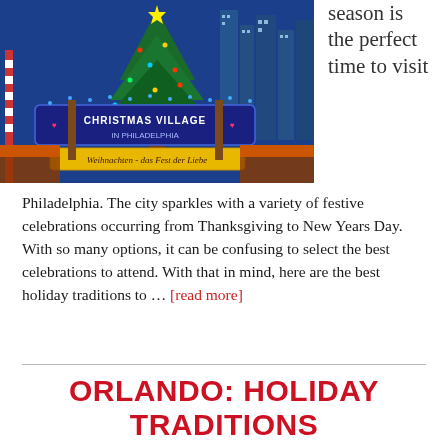[Figure (photo): Photo of Christmas Village in Philadelphia sign lit up at night with a large decorated Christmas tree and city buildings in the background. The sign reads 'Christmas Village in Philadelphia' and below 'Weihnachten - das Fest der Liebe'.]
season is the perfect time to visit
Philadelphia. The city sparkles with a variety of festive celebrations occurring from Thanksgiving to New Years Day. With so many options, it can be confusing to select the best celebrations to attend. With that in mind, here are the best holiday traditions to … [read more]
ORLANDO: HOLIDAY TRADITIONS BEYOND THE THEME PARK GATES